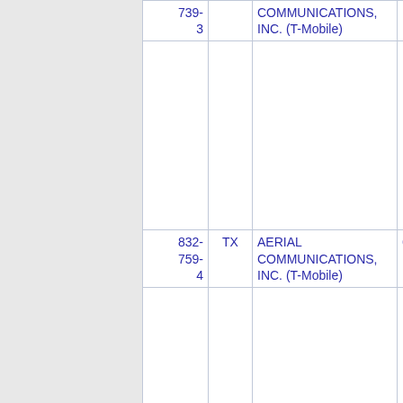| Number | State | Name |  |
| --- | --- | --- | --- |
| 832-759-3 | TX | AERIAL COMMUNICATIONS, INC. (T-Mobile) |  |
| 832-759-4 | TX | AERIAL COMMUNICATIONS, INC. (T-Mobile) | 6 |
| 832-759- | TX | COMCAST IP PHONE, LLC | 3 |